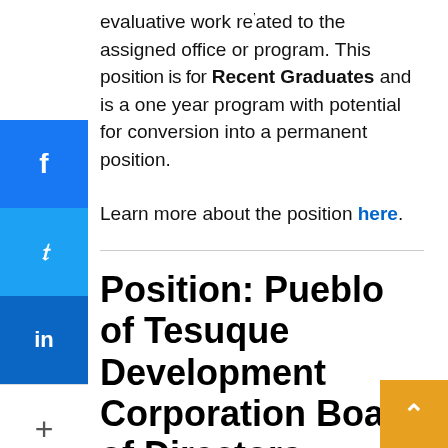evaluative work related to the assigned office or program. This position is for Recent Graduates and is a one year program with potential for conversion into a permanent position.
Learn more about the position here.
Position: Pueblo of Tesuque Development Corporation Board of Directors
The Pueblo of Tesuque Development Corporation (POTDC) is recruiting interested candidates to serve on its Board of Directors. POTDC seeks candidates with experience in